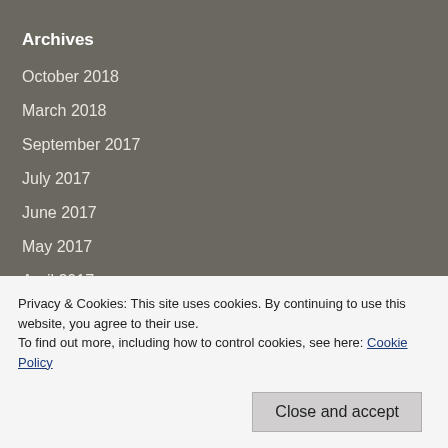Archives
October 2018
March 2018
September 2017
July 2017
June 2017
May 2017
April 2017
Privacy & Cookies: This site uses cookies. By continuing to use this website, you agree to their use.
To find out more, including how to control cookies, see here: Cookie Policy
Close and accept